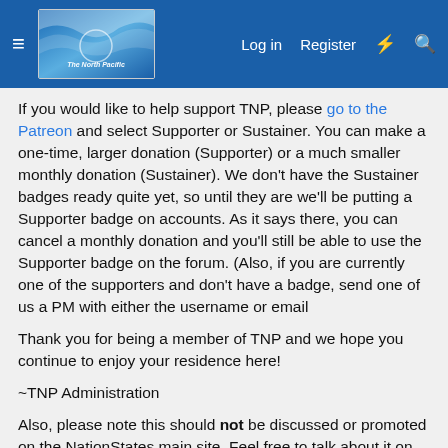The North Pacific forum navigation bar with Log in, Register, and search icons
If you would like to help support TNP, please go to the Patreon and select Supporter or Sustainer. You can make a one-time, larger donation (Supporter) or a much smaller monthly donation (Sustainer). We don't have the Sustainer badges ready quite yet, so until they are we'll be putting a Supporter badge on accounts. As it says there, you can cancel a monthly donation and you'll still be able to use the Supporter badge on the forum. (Also, if you are currently one of the supporters and don't have a badge, send one of us a PM with either the username or email
Thank you for being a member of TNP and we hope you continue to enjoy your residence here!
~TNP Administration
Also, please note this should not be discussed or promoted on the NationStates main site. Feel free to talk about it on our Discord servers or in this thread.